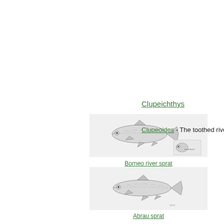Clupeichthys
[Figure (illustration): Illustration of the Borneo river sprat fish (Clupeoides), showing a small elongated silver fish with fins; a smaller inset shows a head detail.]
Clupeoides - The toothed rive
Borneo river sprat
[Figure (illustration): Illustration of the Abrau sprat fish, showing a small elongated silver fish with fins.]
Abrau sprat